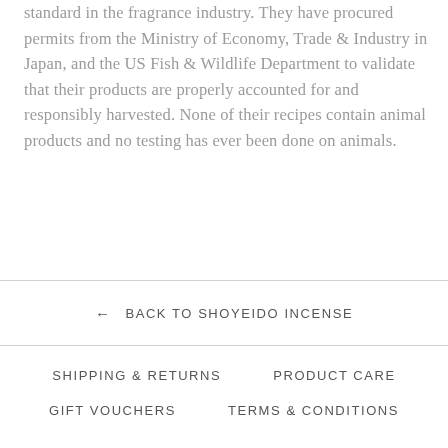standard in the fragrance industry. They have procured permits from the Ministry of Economy, Trade & Industry in Japan, and the US Fish & Wildlife Department to validate that their products are properly accounted for and responsibly harvested. None of their recipes contain animal products and no testing has ever been done on animals.
← BACK TO SHOYEIDO INCENSE
SHIPPING & RETURNS   PRODUCT CARE   GIFT VOUCHERS   TERMS & CONDITIONS